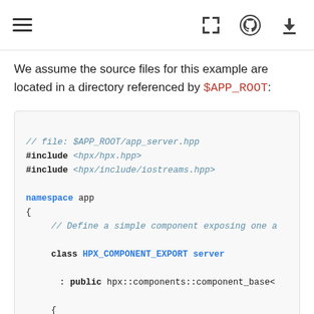[hamburger menu] [fullscreen icon] [github icon] [download icon]
We assume the source files for this example are located in a directory referenced by $APP_ROOT:
[Figure (screenshot): Code block showing C++ source file app_server.hpp with includes, namespace app, class HPX_COMPONENT_EXPORT server inheriting from hpx::components::component_base, void print_greeting() method printing to hpx::cout, and HPX_DEFINE_COMPONENT_ACTION macro.]